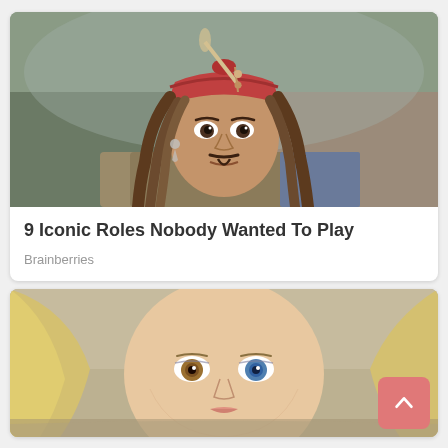[Figure (photo): Photo of a pirate character with red bandana, dreadlocks, and beads — resembling Captain Jack Sparrow from Pirates of the Caribbean]
9 Iconic Roles Nobody Wanted To Play
Brainberries
[Figure (photo): Close-up photo of a blonde woman with heterochromia (one amber eye, one blue eye), outdoors with blurred background]